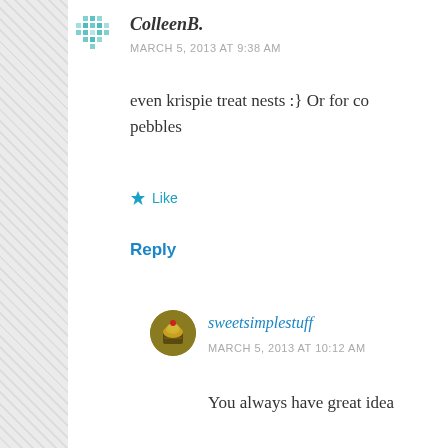[Figure (illustration): Avatar icon for ColleenB - teal pixel/grid pattern avatar]
ColleenB.
MARCH 5, 2013 AT 9:38 AM
even krispie treat nests :} Or for co
pebbles
Like
Reply
[Figure (photo): Avatar photo for sweetsimplestuff - circular cupcake avatar image]
sweetsimplestuff
MARCH 5, 2013 AT 10:12 AM
You always have great idea
Like
Advertisements